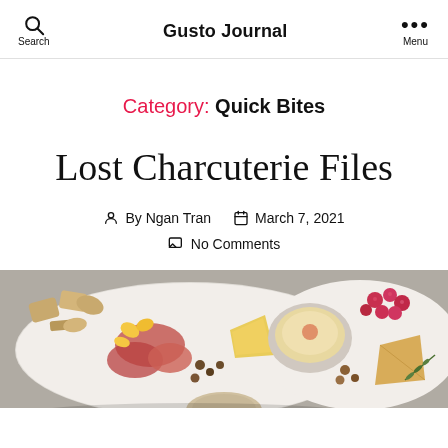Gusto Journal
Category: Quick Bites
Lost Charcuterie Files
By Ngan Tran   March 7, 2021
No Comments
[Figure (photo): A charcuterie board with meats, crackers, cheeses, raspberries, hummus, and various accompaniments, photographed from above on a white surface.]